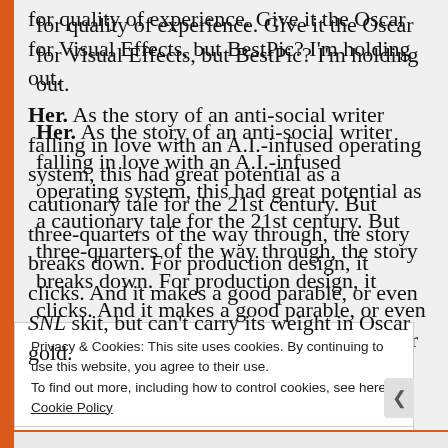for quality of experience. Give it the Oscar for Visual Effects, but BestPic? I'm holding out.
Her. As the story of an anti-social writer falling in love with an A.I.-infused operating system, this had great potential as a cautionary tale for the 21st century. But three-quarters of the way through, the story breaks down. For production design, it clicks. And it makes a good parable, or even SNL skit, but can't carry its weight in Oscar gold.
Privacy & Cookies: This site uses cookies. By continuing to use this website, you agree to their use.
To find out more, including how to control cookies, see here: Cookie Policy
Close and accept